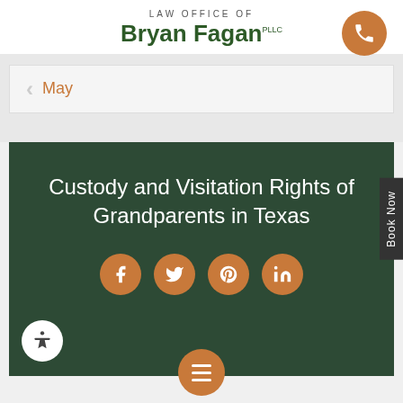LAW OFFICE OF Bryan Fagan PLLC
May
Custody and Visitation Rights of Grandparents in Texas
[Figure (screenshot): Social media share icons: Facebook, Twitter, Pinterest, LinkedIn - orange circular buttons]
[Figure (screenshot): Accessibility icon button (white circle, person icon) and hamburger menu button (orange circle)]